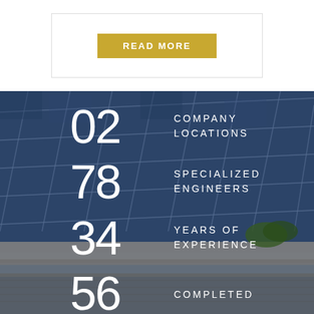[Figure (other): Button labeled READ MORE with gold/yellow background inside a bordered card on white background]
[Figure (photo): Aerial/rooftop view of blue solar panels installed on a roof with visible grid lines and a roof edge with gutters and green foliage visible]
02 COMPANY LOCATIONS
78 SPECIALIZED ENGINEERS
34 YEARS OF EXPERIENCE
56 COMPLETED